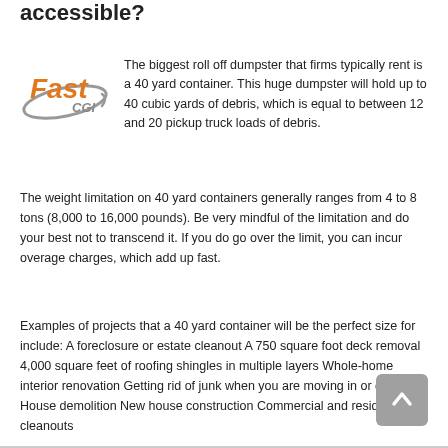accessible?
[Figure (logo): FastCGI logo with orange and grey text and swoosh graphic]
The biggest roll off dumpster that firms typically rent is a 40 yard container. This huge dumpster will hold up to 40 cubic yards of debris, which is equal to between 12 and 20 pickup truck loads of debris.
The weight limitation on 40 yard containers generally ranges from 4 to 8 tons (8,000 to 16,000 pounds). Be very mindful of the limitation and do your best not to transcend it. If you do go over the limit, you can incur overage charges, which add up fast.
Examples of projects that a 40 yard container will be the perfect size for include: A foreclosure or estate cleanout A 750 square foot deck removal 4,000 square feet of roofing shingles in multiple layers Whole-home interior renovation Getting rid of junk when you are moving in or out House demolition New house construction Commercial and residential cleanouts